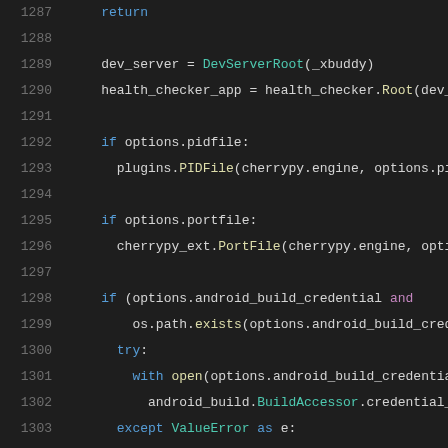[Figure (screenshot): Code editor screenshot showing Python source code lines 1287-1307 with syntax highlighting on dark background. Shows code related to a dev server setup, health checker, PID file, port file, android build credentials, and cherrypy tree mount.]